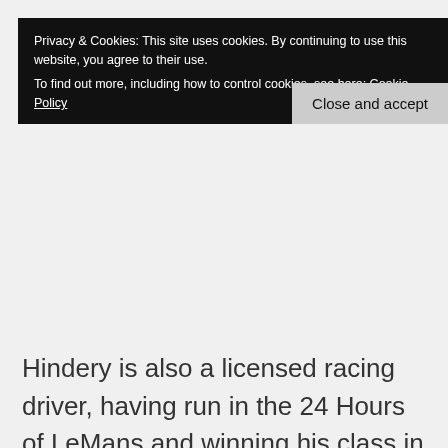Privacy & Cookies: This site uses cookies. By continuing to use this website, you agree to their use.
To find out more, including how to control cookies, see here: Cookie Policy
Close and accept
Hindery is also a licensed racing driver, having run in the 24 Hours of LeMans and winning his class in 2005